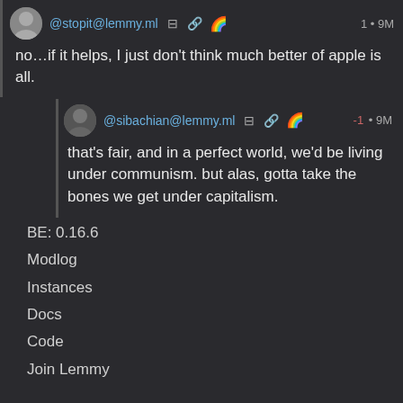@stopit@lemmy.ml  ⊟  🔗  🌈  1 • 9M
no…if it helps, I just don't think much better of apple is all.
@sibachian@lemmy.ml  ⊟  🔗  🌈  -1 • 9M
that's fair, and in a perfect world, we'd be living under communism. but alas, gotta take the bones we get under capitalism.
BE: 0.16.6
Modlog
Instances
Docs
Code
Join Lemmy